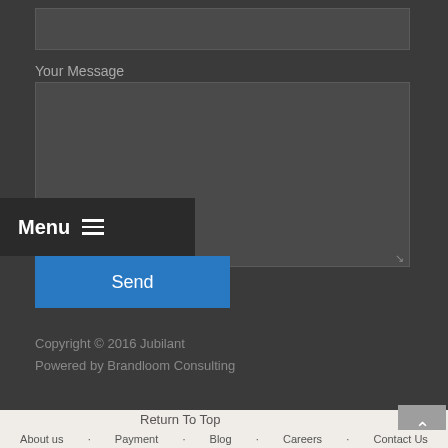[Figure (screenshot): Contact form input field (text box) at top of dark section]
Your Message
[Figure (screenshot): Large textarea for message input with resize handle]
Menu ≡
[Figure (screenshot): Blue Send button]
Copyright © 2016 Jubilant
Powered by Brandloom Consulting
Return To Top
About us · Payment · Blog · Careers · Contact Us